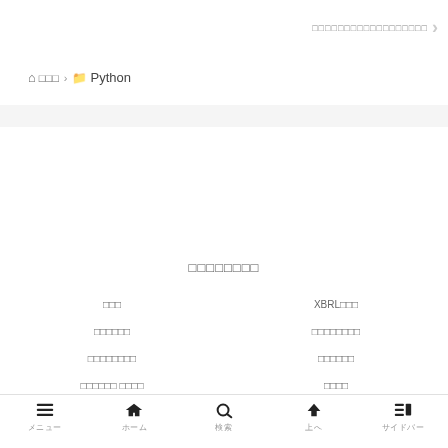□□□□□□□□□□□□□□□□□□ >
⌂ □□□ > 📁 Python
□□□□□□□□
□□□
XBRL□□□
□□□□□□
□□□□□□□□
□□□□□□□□
□□□□□□
□□□□□□ □□□□
□□□□
メニュー　ホーム　検索　上へ　サイドバー